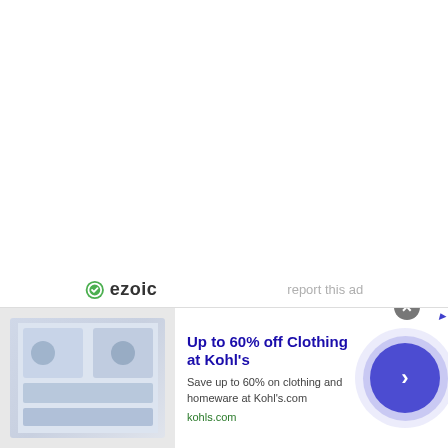[Figure (logo): Ezoic logo with green circular icon and bold text 'ezoic', alongside 'report this ad' text in gray]
Powered by Blogger.
[Figure (infographic): Advertisement banner: Up to 60% off Clothing at Kohl's. Save up to 60% on clothing and homeware at Kohl's.com. kohls.com. With product image on left and arrow button on right.]